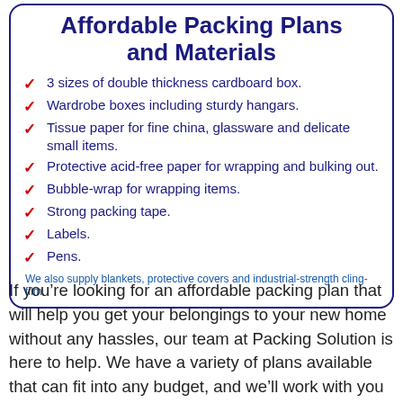Affordable Packing Plans and Materials
3 sizes of double thickness cardboard box.
Wardrobe boxes including sturdy hangars.
Tissue paper for fine china, glassware and delicate small items.
Protective acid-free paper for wrapping and bulking out.
Bubble-wrap for wrapping items.
Strong packing tape.
Labels.
Pens.
We also supply blankets, protective covers and industrial-strength cling-film.
If you’re looking for an affordable packing plan that will help you get your belongings to your new home without any hassles, our team at Packing Solution is here to help. We have a variety of plans available that can fit into any budget, and we’ll work with you to make sure your move goes as smoothly as possible. Contact us today to learn more about